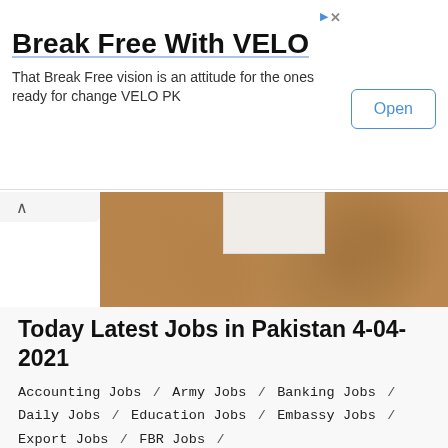[Figure (infographic): Advertisement banner for VELO with title 'Break Free With VELO', description text, and an Open button]
[Figure (photo): Cork board with a white paper/note on it]
Today Latest Jobs in Pakistan 4-04-2021
Accounting Jobs / Army Jobs / Banking Jobs / Daily Jobs / Education Jobs / Embassy Jobs / Export Jobs / FBR Jobs / Federal Government Jobs / FIA Jobs / Finance Jobs / FPSC Jobs / Full Time / Government Jobs / Government Jobs in Pakistan / Hospital Jobs / Internship / IT Jobs / Jobs by Date / Jobs by Industry / Jobs by Location / Jobs by Newspaper /